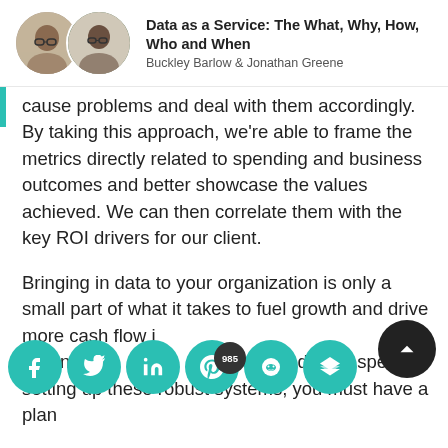Data as a Service: The What, Why, How, Who and When — Buckley Barlow & Jonathan Greene
cause problems and deal with them accordingly. By taking this approach, we're able to frame the metrics directly related to spending and business outcomes and better showcase the values achieved. We can then correlate them with the key ROI drivers for our client.
Bringing in data to your organization is only a small part of what it takes to fuel growth and drive more cash flow in your business. In order to see a return on the hundreds of millions of dollars spent setting up these robust systems, you must have a plan